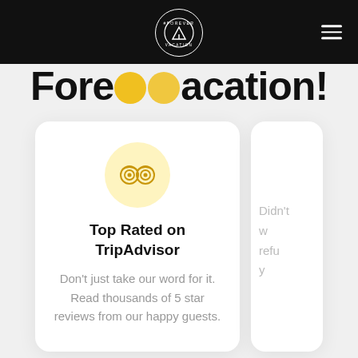[Figure (logo): Forever Vacation circular logo with triangle/arrow icon on black navigation bar]
ForeverVacation!
[Figure (illustration): Card with TripAdvisor owl icon in yellow circle]
Top Rated on TripAdvisor
Don't just take our word for it. Read thousands of 5 star reviews from our happy guests.
Didn't w refu y